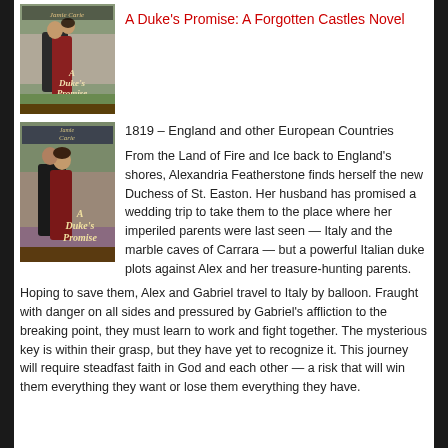[Figure (illustration): Book cover of 'A Duke's Promise' showing a couple embracing outdoors, by Jamie Carie]
A Duke's Promise: A Forgotten Castles Novel
[Figure (illustration): Second book cover of 'A Duke's Promise' by Jamie Carie, showing couple embracing]
1819 – England and other European Countries
From the Land of Fire and Ice back to England's shores, Alexandria Featherstone finds herself the new Duchess of St. Easton. Her husband has promised a wedding trip to take them to the place where her imperiled parents were last seen — Italy and the marble caves of Carrara — but a powerful Italian duke plots against Alex and her treasure-hunting parents.
Hoping to save them, Alex and Gabriel travel to Italy by balloon. Fraught with danger on all sides and pressured by Gabriel's affliction to the breaking point, they must learn to work and fight together. The mysterious key is within their grasp, but they have yet to recognize it. This journey will require steadfast faith in God and each other — a risk that will win them everything they want or lose them everything they have.